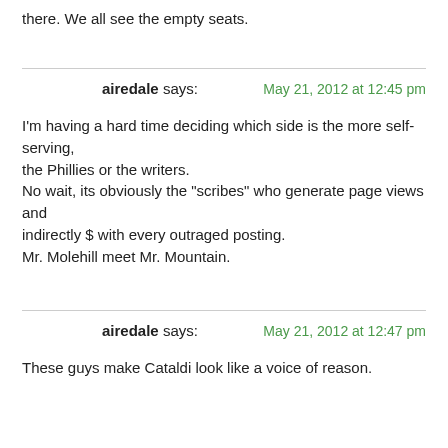there. We all see the empty seats.
airedale says:
May 21, 2012 at 12:45 pm

I'm having a hard time deciding which side is the more self-serving, the Phillies or the writers.
No wait, its obviously the "scribes" who generate page views and indirectly $ with every outraged posting.
Mr. Molehill meet Mr. Mountain.
airedale says:
May 21, 2012 at 12:47 pm

These guys make Cataldi look like a voice of reason.